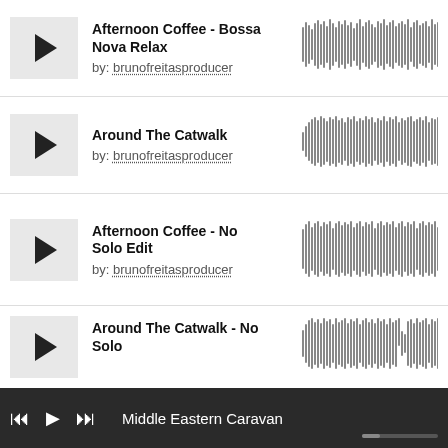Afternoon Coffee - Bossa Nova Relax
by: brunofreitasproducer
[Figure (other): Audio waveform visualization for Afternoon Coffee - Bossa Nova Relax]
Around The Catwalk
by: brunofreitasproducer
[Figure (other): Audio waveform visualization for Around The Catwalk]
Afternoon Coffee - No Solo Edit
by: brunofreitasproducer
[Figure (other): Audio waveform visualization for Afternoon Coffee - No Solo Edit]
Around The Catwalk - No Solo
by: brunofreitasproducer
[Figure (other): Audio waveform visualization for Around The Catwalk - No Solo]
Middle Eastern Caravan